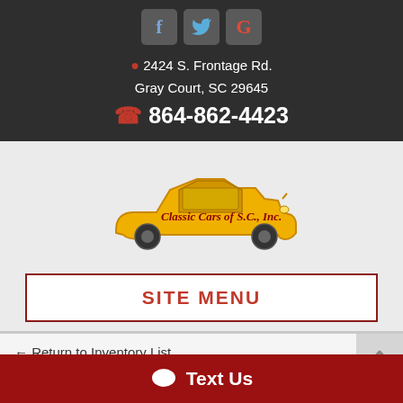[Figure (logo): Social media icons: Facebook (f), Twitter bird, Google (G) in gray square boxes]
2424 S. Frontage Rd.
Gray Court, SC 29645
864-862-4423
[Figure (logo): Classic Cars of S.C., Inc. logo - yellow vintage car silhouette with red script text]
SITE MENU
← Return to Inventory List
1974 Lincoln Mark IV
💬 Text Us